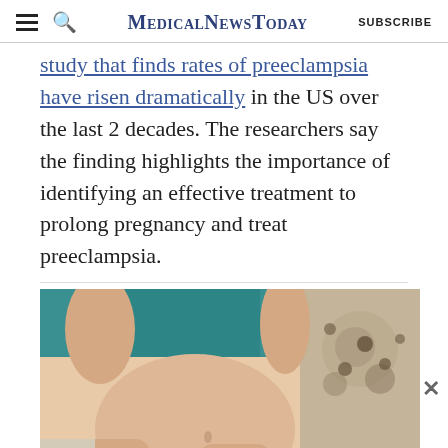MedicalNewsToday | SUBSCRIBE
study that finds rates of preeclampsia have risen dramatically in the US over the last 2 decades. The researchers say the finding highlights the importance of identifying an effective treatment to prolong pregnancy and treat preeclampsia.
[Figure (photo): Pregnant woman sitting in bed, wearing a teal crop top, showing bare belly, with patterned pillows in the background, holding a laptop or device on her lap.]
ADVERTISEMENT